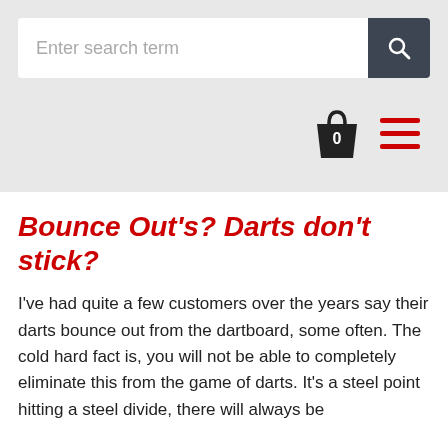[Figure (screenshot): Website header with search bar input field labeled 'Enter search term', a dark grey search button with a magnifying glass icon, a shopping bag icon with '0' count, and a red hamburger menu icon on a light grey background.]
Bounce Out's? Darts don't stick?
I've had quite a few customers over the years say their darts bounce out from the dartboard, some often. The cold hard fact is, you will not be able to completely eliminate this from the game of darts. It's a steel point hitting a steel divide, there will always be